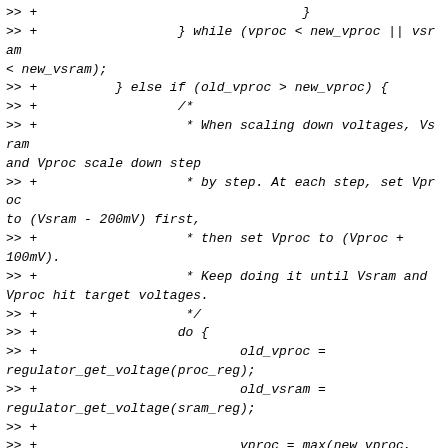>> +                                  }
>> +                  } while (vproc < new_vproc || vsram < new_vsram);
>> +          } else if (old_vproc > new_vproc) {
>> +                  /*
>> +                   * When scaling down voltages, Vsram and Vproc scale down step
>> +                   * by step. At each step, set Vproc to (Vsram - 200mV) first,
>> +                   * then set Vproc to (Vproc + 100mV).
>> +                   * Keep doing it until Vsram and Vproc hit target voltages.
>> +                   */
>> +                  do {
>> +                          old_vproc = regulator_get_voltage(proc_reg);
>> +                          old_vsram = regulator_get_voltage(sram_reg);
>> +
>> +                          vproc = max(new_vproc, old_vsram - MAX_VOLT_SHIFT);
>> +                          ret = regulator_set_voltage(proc_reg, vproc,
>> +				vproc + VOLT_TOL);
>> +                          if (ret)
>> +                                  return ret;
>> +
>> +                          if (vproc == new_vproc)